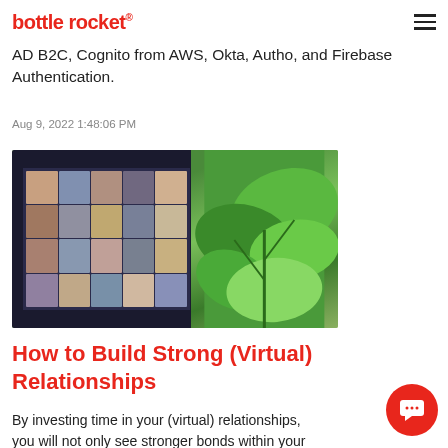bottle rocket®
AD B2C, Cognito from AWS, Okta, Autho, and Firebase Authentication.
Aug 9, 2022 1:48:06 PM
[Figure (photo): A laptop screen showing a video conference with multiple participants in a grid view, beside a green plant with large leaves, on a desk surface.]
How to Build Strong (Virtual) Relationships
By investing time in your (virtual) relationships, you will not only see stronger bonds within your